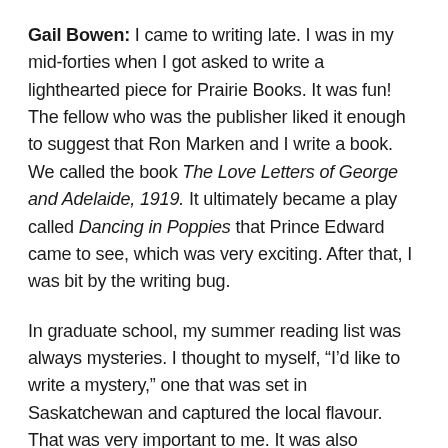Gail Bowen: I came to writing late. I was in my mid-forties when I got asked to write a lighthearted piece for Prairie Books. It was fun! The fellow who was the publisher liked it enough to suggest that Ron Marken and I write a book. We called the book The Love Letters of George and Adelaide, 1919. It ultimately became a play called Dancing in Poppies that Prince Edward came to see, which was very exciting. After that, I was bit by the writing bug.
In graduate school, my summer reading list was always mysteries. I thought to myself, “I’d like to write a mystery,” one that was set in Saskatchewan and captured the local flavour. That was very important to me. It was also important to create a main character that reflected myself: someone who lived in Saskatchewan, someone middle-aged and ageing,